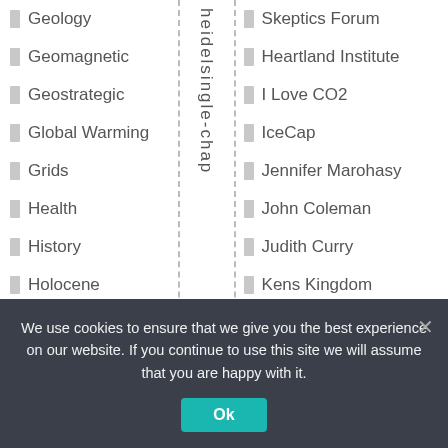Geology
Geomagnetic
Geostrategic
Global Warming
Grids
Health
History
Holocene
Human Rights
Hydrogen
Ideology
India
Joanne
Language
Lawfare
heidelsingle-chap
Skeptics Forum
Heartland Institute
I Love CO2
IceCap
Jennifer Marohasy
John Coleman
Judith Curry
Kens Kingdom
Lavoisier Group
Mark Steyn
McLean on AGW
Menzies House
NEM Watch
Nick Cater – Lucky Culture
Wind Gold...
We use cookies to ensure that we give you the best experience on our website. If you continue to use this site we will assume that you are happy with it. Ok